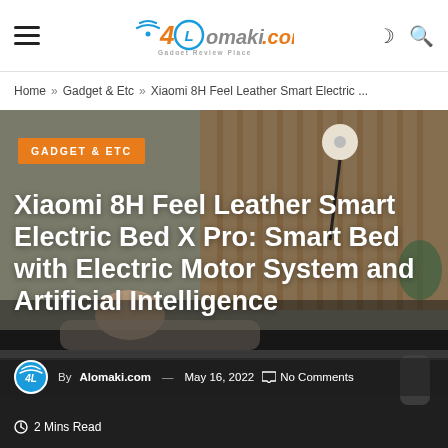Alomaki.com — Gadget Review Place
Home » Gadget & Etc » Xiaomi 8H Feel Leather Smart Electric ...
[Figure (photo): Hero image showing a person lying on an adjustable electric smart bed with a lamp in the background, product photo for Xiaomi 8H Feel Leather Smart Electric Bed X Pro]
GADGET & ETC
Xiaomi 8H Feel Leather Smart Electric Bed X Pro: Smart Bed with Electric Motor System and Artificial Intelligence
By Alomaki.com — May 16, 2022  No Comments
2 Mins Read